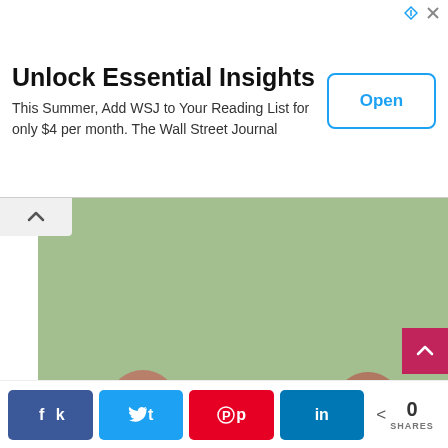[Figure (infographic): Advertisement banner for Wall Street Journal with title 'Unlock Essential Insights', subtitle 'This Summer, Add WSJ to Your Reading List for only $4 per month. The Wall Street Journal', and an 'Open' button on the right. Small ad icons in top right.]
[Figure (photo): Photo of three pinecone craft figures dressed with felt scarves and mittens in green/yellow, red, and green colors, standing on a white windowsill. Watermark reads LIAGRIFFITH.COM.]
[Figure (photo): Partial bottom photo showing a craft item with a white pom-pom top on a tan/brown background.]
k  t  p  in  < 0
SHARES